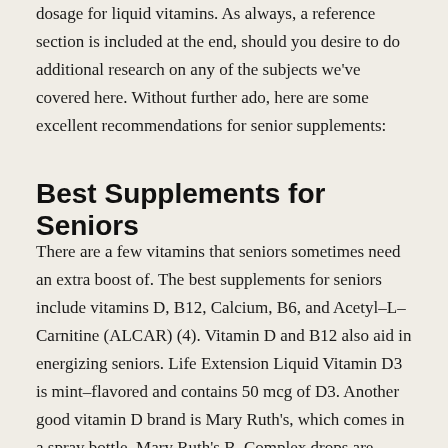dosage for liquid vitamins. As always, a reference section is included at the end, should you desire to do additional research on any of the subjects we've covered here. Without further ado, here are some excellent recommendations for senior supplements:
Best Supplements for Seniors
There are a few vitamins that seniors sometimes need an extra boost of. The best supplements for seniors include vitamins D, B12, Calcium, B6, and Acetyl–L–Carnitine (ALCAR) (4). Vitamin D and B12 also aid in energizing seniors. Life Extension Liquid Vitamin D3 is mint–flavored and contains 50 mcg of D3. Another good vitamin D brand is Mary Ruth's, which comes in a spray bottle. Mary Ruth's B–Complex drops are cherry–flavored and contain B6 (2mg) and B12 (1500 mcg). Live